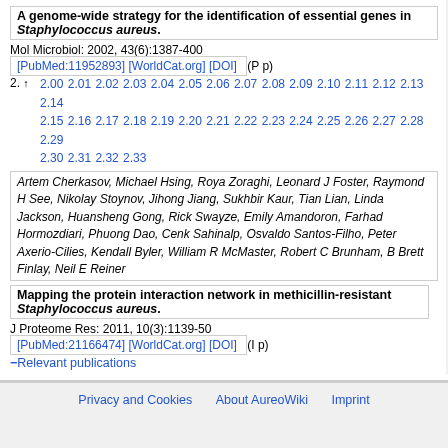A genome-wide strategy for the identification of essential genes in Staphylococcus aureus. Mol Microbiol: 2002, 43(6):1387-400 [PubMed:11952893] [WorldCat.org] [DOI] (P p)
2. ↑ 2.00 2.01 2.02 2.03 2.04 2.05 2.06 2.07 2.08 2.09 2.10 2.11 2.12 2.13 2.14 2.15 2.16 2.17 2.18 2.19 2.20 2.21 2.22 2.23 2.24 2.25 2.26 2.27 2.28 2.29 2.30 2.31 2.32 2.33
Artem Cherkasov, Michael Hsing, Roya Zoraghi, Leonard J Foster, Raymond H See, Nikolay Stoynov, Jihong Jiang, Sukhbir Kaur, Tian Lian, Linda Jackson, Huansheng Gong, Rick Swayze, Emily Amandoron, Farhad Hormozdiari, Phuong Dao, Cenk Sahinalp, Osvaldo Santos-Filho, Peter Axerio-Cilies, Kendall Byler, William R McMaster, Robert C Brunham, B Brett Finlay, Neil E Reiner
Mapping the protein interaction network in methicillin-resistant Staphylococcus aureus. J Proteome Res: 2011, 10(3):1139-50 [PubMed:21166474] [WorldCat.org] [DOI] (I p)
Relevant publications
Privacy and Cookies   About AureoWiki   Imprint